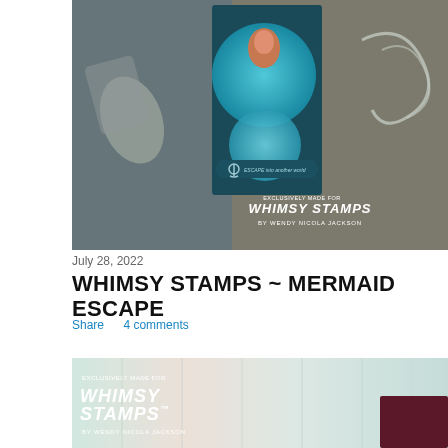[Figure (photo): Craft/stamping photo showing mermaid-themed card with teal circles, dark teal background card with anchor banner reading 'ESCAPE into another world', surrounded by metal dies and stamps on a mixed colorful background. Whimsy Stamps logo overlay in bottom right reading 'EXCLUSIVELY MADE FOR WHIMSY STAMPS by Wendy Nicola Jackson'.]
July 28, 2022
WHIMSY STAMPS ~ MERMAID ESCAPE
Share    4 comments
[Figure (photo): Second craft photo showing wooden plank background in soft pink and teal tones with Whimsy Stamps logo overlay on left side reading 'EXCLUSIVELY MADE FOR WHIMSY STAMPS by Wendy Nicola Jackson', and a dark maroon/burgundy rectangular card partially visible at bottom right.]